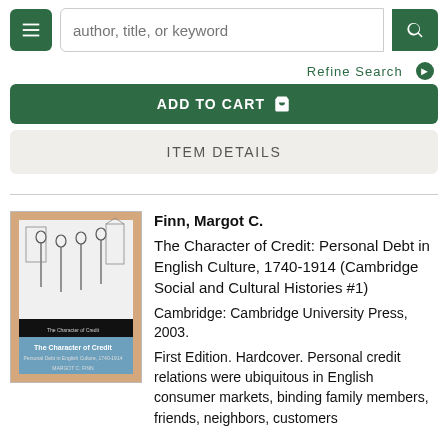[Figure (screenshot): Website navigation bar with hamburger menu button, search input field (placeholder: author, title, or keyword), and green search button]
Refine Search ❯
ADD TO CART
ITEM DETAILS
[Figure (photo): Book cover of 'The Character of Credit' by Margot C. Finn showing a sketch of historical figures]
Finn, Margot C.
The Character of Credit: Personal Debt in English Culture, 1740-1914 (Cambridge Social and Cultural Histories #1)
Cambridge: Cambridge University Press, 2003.
First Edition. Hardcover. Personal credit relations were ubiquitous in English consumer markets, binding family members, friends, neighbors, customers